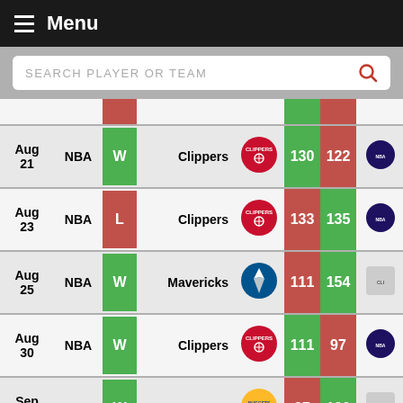Menu
SEARCH PLAYER OR TEAM
| Date | League | Result |  | Opponent | Logo | Score1 | Score2 | OppLogo |
| --- | --- | --- | --- | --- | --- | --- | --- | --- |
| Aug 21 | NBA | W |  | Clippers | [Clippers logo] | 130 | 122 |  |
| Aug 23 | NBA | L |  | Clippers | [Clippers logo] | 133 | 135 |  |
| Aug 25 | NBA | W |  | Mavericks | [Mavericks logo] | 111 | 154 |  |
| Aug 30 | NBA | W |  | Clippers | [Clippers logo] | 111 | 97 |  |
| Sep 03 | NBA | W |  | Nuggets | [Nuggets logo] | 97 | 120 |  |